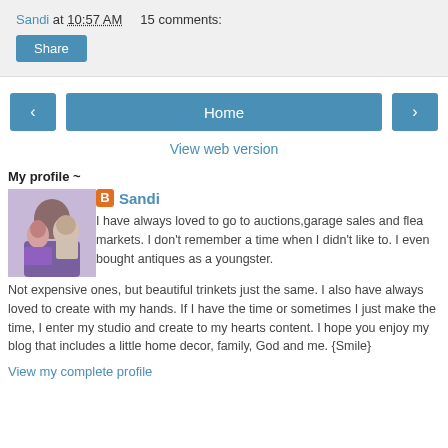Sandi at 10:57 AM    15 comments:
Share
< Home >
View web version
My profile ~
[Figure (photo): Profile photo of two people, a young girl and an older woman with glasses]
Sandi
I have always loved to go to auctions,garage sales and flea markets. I don't remember a time when I didn't like to. I even bought antiques as a youngster. Not expensive ones, but beautiful trinkets just the same. I also have always loved to create with my hands. If I have the time or sometimes I just make the time, I enter my studio and create to my hearts content. I hope you enjoy my blog that includes a little home decor, family, God and me. {Smile}
View my complete profile